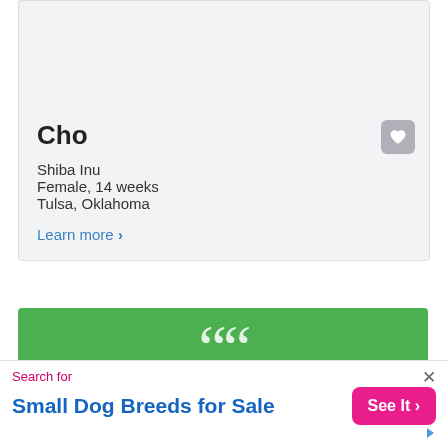[Figure (photo): Photo of a Shiba Inu puppy being held in a hand over green grass, cropped at top]
Cho
Shiba Inu
Female, 14 weeks
Tulsa, Oklahoma
Learn more ›
[Figure (illustration): Green testimonial block with large white quotation marks and text: "As a first time puppy mommy I loved]
Search for
Small Dog Breeds for Sale
See It ›